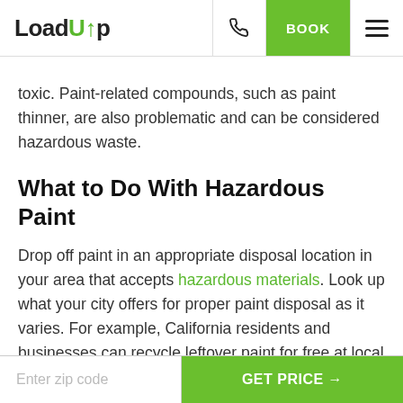LoadUp — BOOK
toxic. Paint-related compounds, such as paint thinner, are also problematic and can be considered hazardous waste.
What to Do With Hazardous Paint
Drop off paint in an appropriate disposal location in your area that accepts hazardous materials. Look up what your city offers for proper paint disposal as it varies. For example, California residents and businesses can recycle leftover paint for free at local